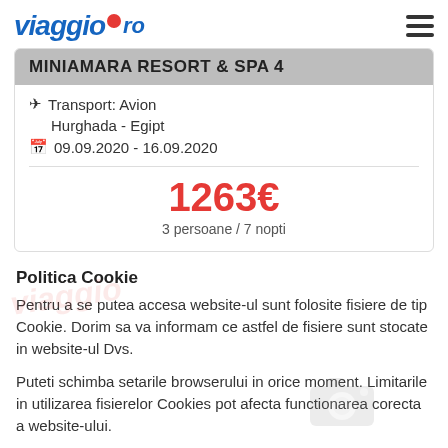viaggio.ro
MINIAMARA RESORT & SPA 4
Transport: Avion
Hurghada - Egipt
09.09.2020 - 16.09.2020
1263€
3 persoane / 7 nopti
Politica Cookie
Pentru a se putea accesa website-ul sunt folosite fisiere de tip Cookie. Dorim sa va informam ce astfel de fisiere sunt stocate in website-ul Dvs.
Puteti schimba setarile browserului in orice moment. Limitarile in utilizarea fisierelor Cookies pot afecta functionarea corecta a website-ului.
Sunt de acord